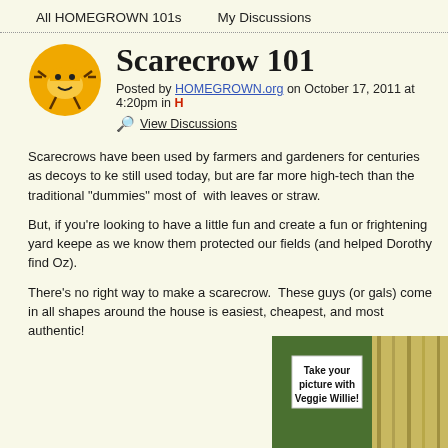All HOMEGROWN 101s    My Discussions
Scarecrow 101
Posted by HOMEGROWN.org on October 17, 2011 at 4:20pm in H…
View Discussions
Scarecrows have been used by farmers and gardeners for centuries as decoys to ke… still used today, but are far more high-tech than the traditional "dummies" most of … with leaves or straw.
But, if you're looking to have a little fun and create a fun or frightening yard keepe… as we know them protected our fields (and helped Dorothy find Oz).
There's no right way to make a scarecrow.  These guys (or gals) come in all shapes… around the house is easiest, cheapest, and most authentic!
[Figure (photo): Outdoor garden photo with a sign reading 'Take your picture with Veggie Willie!' surrounded by green plants and dried grass/straw.]